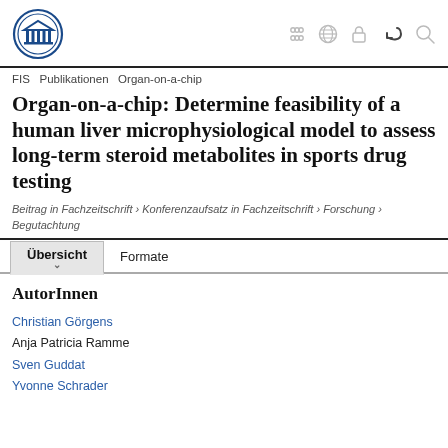FIS · Publikationen · Organ-on-a-chip
Organ-on-a-chip: Determine feasibility of a human liver microphysiological model to assess long-term steroid metabolites in sports drug testing
Beitrag in Fachzeitschrift › Konferenzaufsatz in Fachzeitschrift › Forschung › Begutachtung
AutorInnen
Christian Görgens
Anja Patricia Ramme
Sven Guddat
Yvonne Schrader